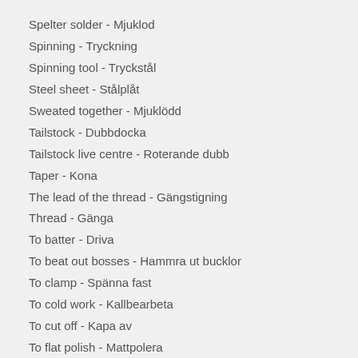Spelter solder - Mjuklod
Spinning - Tryckning
Spinning tool - Tryckstål
Steel sheet - Stålplåt
Sweated together - Mjuklödd
Tailstock - Dubbdocka
Tailstock live centre - Roterande dubb
Taper - Kona
The lead of the thread - Gängstigning
Thread - Gänga
To batter - Driva
To beat out bosses - Hammra ut bucklor
To clamp - Spänna fast
To cold work - Kallbearbeta
To cut off - Kapa av
To flat polish - Mattpolera
To put together - Montera (ihop)